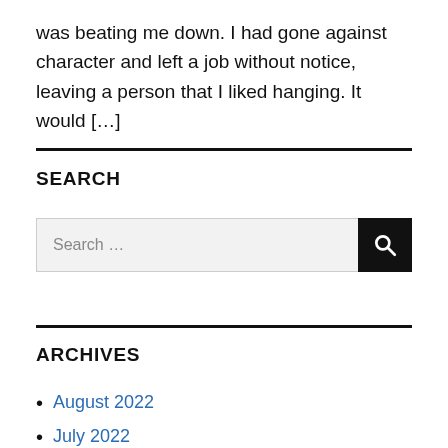was beating me down. I had gone against character and left a job without notice, leaving a person that I liked hanging. It would […]
SEARCH
[Figure (screenshot): Search input box with placeholder 'Search …' and a black button with a magnifying glass icon]
ARCHIVES
August 2022
July 2022